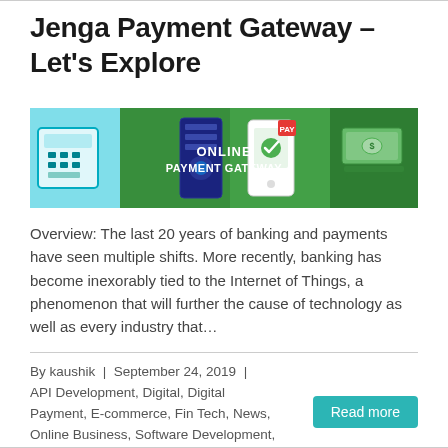Jenga Payment Gateway – Let's Explore
[Figure (illustration): Online Payment Gateway banner illustration showing payment icons, mobile phone with checkmark, and cash, on a green and teal background with text 'ONLINE PAYMENT GATEWAY']
Overview: The last 20 years of banking and payments have seen multiple shifts. More recently, banking has become inexorably tied to the Internet of Things, a phenomenon that will further the cause of technology as well as every industry that…
By kaushik  |  September 24, 2019  |  API Development, Digital, Digital Payment, E-commerce, Fin Tech, News, Online Business, Software Development, Tech on Business, Technology Trends
|
Read more